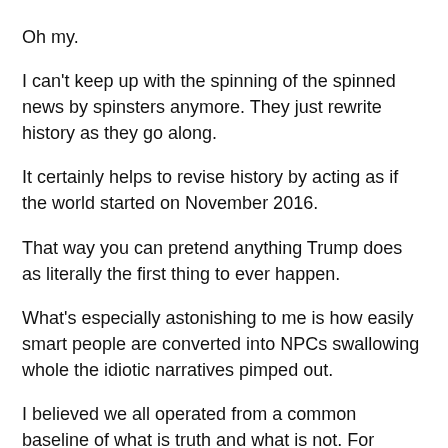Oh my.
I can't keep up with the spinning of the spinned news by spinsters anymore. They just rewrite history as they go along.
It certainly helps to revise history by acting as if the world started on November 2016.
That way you can pretend anything Trump does as literally the first thing to ever happen.
What's especially astonishing to me is how easily smart people are converted into NPCs swallowing whole the idiotic narratives pimped out.
I believed we all operated from a common baseline of what is truth and what is not. For example, even if one held ruthless criticism of American foreign policy they still understood the difference between objecting to how foreign policy is conducted and playing useful idiot outright enemies